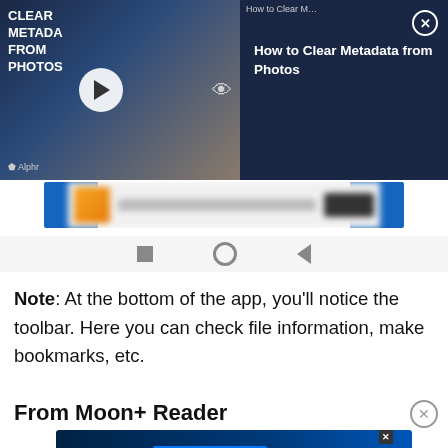[Figure (screenshot): Video overlay panel showing 'How to Clear Metadata from Photos' with thumbnail on left and title panel on right with close button]
[Figure (screenshot): Blurred advertisement bar with orange icon and dark button, flanked by blue squares]
[Figure (screenshot): Android navigation bar with square, circle, and back triangle icons]
Note: At the bottom of the app, you'll notice the toolbar. Here you can check file information, make bookmarks, etc.
From Moon+ Reader
[Figure (screenshot): Disney Bundle advertisement showing hulu, Disney+, ESPN+ logos and 'GET THE DISNEY BUNDLE' CTA]